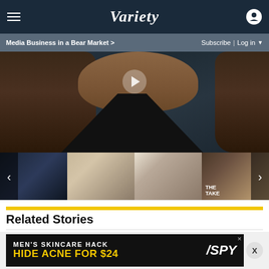Variety — Media Business in a Bear Market > | Subscribe | Log in
[Figure (photo): Close-up photo of a person with long braids wearing a black leather triangle-top, with a play button overlay indicating a video]
[Figure (photo): Thumbnail strip with four images: woman smiling in dark top, two people in formal wear, Kurt Cobain portrait juxtaposed with another person, and two people at The Take event; with left and right carousel arrows]
Related Stories
[Figure (photo): Thumbnail image of Will Smith with film strip border pattern on teal/red background]
VIP+
Will Smith Video's Crisis PR Lessons
[Figure (advertisement): Advertisement banner: MEN'S SKINCARE HACK — HIDE ACNE FOR $24, with SPY logo on dark background]